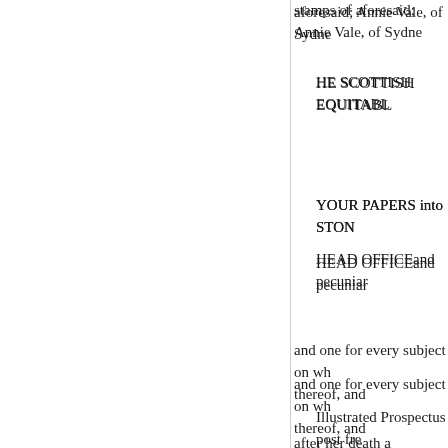stamps of aforesaid; Annie Vale, of Sydne
HE SCOTTISH EQUITABL
YOUR PAPERS into STON
HEAD OFFICEand pecuniar
and one for every subject on wh thereof, and
Illustrated Prospectus post fre after her death a
facturer and Patentee, Banbury. original, but
A Box, to keep numbers of th
tidy while accumulating for bin SOLICITORS IN LONDON--M to its DIS